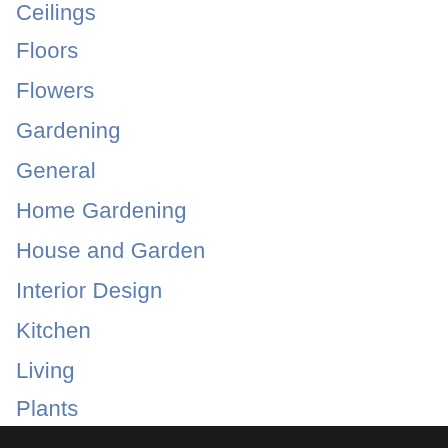Ceilings
Floors
Flowers
Gardening
General
Home Gardening
House and Garden
Interior Design
Kitchen
Living
Plants